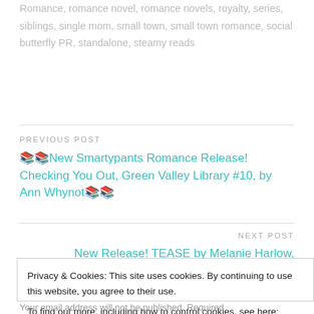Romance, romance novel, romance novels, royalty, series, siblings, single mom, small town, small town romance, social butterfly PR, standalone, steamy reads
PREVIOUS POST
📚📚New Smartypants Romance Release! Checking You Out, Green Valley Library #10, by Ann Whynot📚📚
NEXT POST
New Release! TEASE by Melanie Harlow,
Privacy & Cookies: This site uses cookies. By continuing to use this website, you agree to their use.
To find out more, including how to control cookies, see here: Cookie Policy
Close and accept
Your email address will not be published. Required